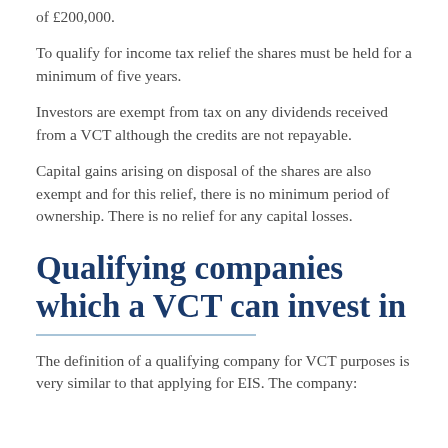of £200,000.
To qualify for income tax relief the shares must be held for a minimum of five years.
Investors are exempt from tax on any dividends received from a VCT although the credits are not repayable.
Capital gains arising on disposal of the shares are also exempt and for this relief, there is no minimum period of ownership. There is no relief for any capital losses.
Qualifying companies which a VCT can invest in
The definition of a qualifying company for VCT purposes is very similar to that applying for EIS. The company: